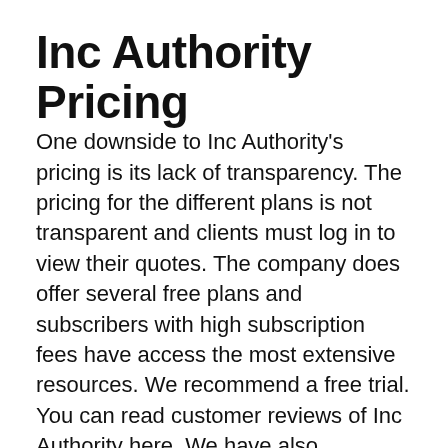Inc Authority Pricing
One downside to Inc Authority’s pricing is its lack of transparency. The pricing for the different plans is not transparent and clients must log in to view their quotes. The company does offer several free plans and subscribers with high subscription fees have access the most extensive resources. We recommend a free trial. You can read customer reviews of Inc Authority here. We have also reviewed the company’s service on Trustpilot, where most customers laud the free service.
In Kentucky, Inc Authority offers free LLC formation. This is the best way to obtain an